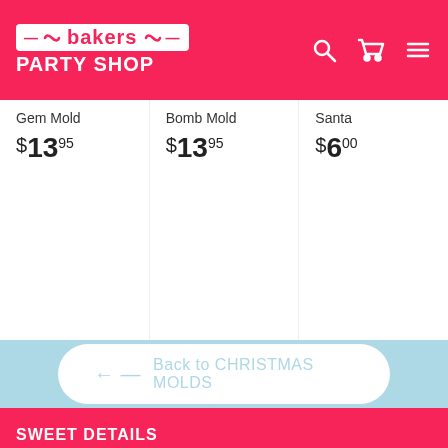Bakers Party Shop
Gem Mold
$ 13.95
Bomb Mold
$ 13.95
Santa
$ 6.00
← Back to CHRISTMAS MOLDS
SWEET DETAILS
SHOP UPDATE
SHIPPING FAQ's
GENERAL FAQ'S